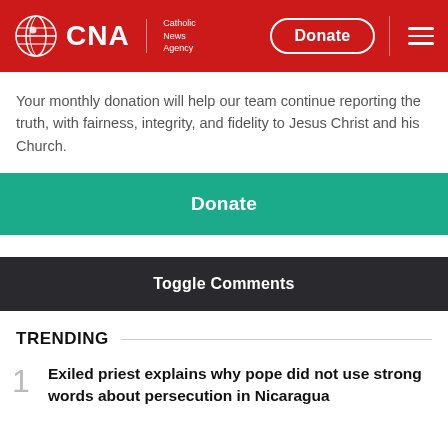CNA Catholic News Agency
Your monthly donation will help our team continue reporting the truth, with fairness, integrity, and fidelity to Jesus Christ and his Church.
Donate
Toggle Comments
TRENDING
1 Exiled priest explains why pope did not use strong words about persecution in Nicaragua